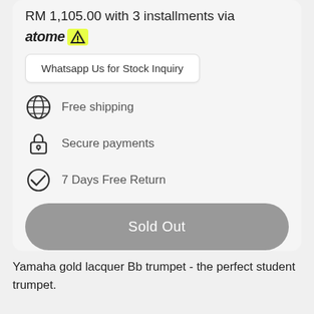RM 1,105.00 with 3 installments via atome
Whatsapp Us for Stock Inquiry
Free shipping
Secure payments
7 Days Free Return
Sold Out
Share
Yamaha gold lacquer Bb trumpet - the perfect student trumpet.